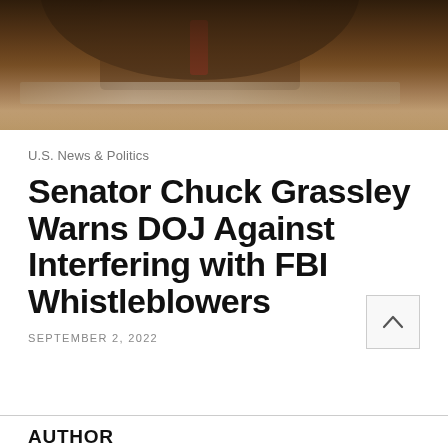[Figure (photo): Blurred photograph of Senator Chuck Grassley at a hearing desk, wearing a suit and red tie, with a nameplate visible in the foreground and dark wood paneling in the background.]
U.S. News & Politics
Senator Chuck Grassley Warns DOJ Against Interfering with FBI Whistleblowers
SEPTEMBER 2, 2022
AUTHOR